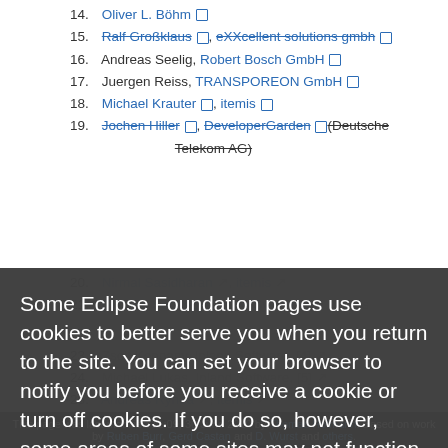14. Oliver L. Böhm [external link]
15. Ralf Großklaus [strikethrough, external link], eXXcellent solutions gmbh [strikethrough, external link]
16. Andreas Seelig, Robert Bosch GmbH [external link]
17. Juergen Reiss, TRANSPOREON GmbH [external link]
18. Michael Krauter [external link], itemis [external link]
19. Jochen Hiller [strikethrough, external link], DeveloperGarden [strikethrough, external link] (Deutsche Telekom AG)
20. Nirmal Sasidharan [external link], itemis [external link]
21. [partially visible] (Capco Systems) [external link], Janos [partially visible]
23. Zsolt Koppany, Inland Software, [4] [external link]
24. Michael Lukas, Inland Software, [5] [external link]
25. Andreas Rynda [external link], itemis [external link]
26. Dietmar Heil, [partially visible]
28. Gerd Castan [external link], Klett Systeme
Some Eclipse Foundation pages use cookies to better serve you when you return to the site. You can set your browser to notify you before you receive a cookie or turn off cookies. If you do so, however, some areas of some sites may not function properly. To read Eclipse Foundation Privacy Policy click here.
Decline
Allow cookies
This page was last modified 11:09, 30 June 2010 by Thomas Hofmann. Based on work by Ruben Burr, Gerd Castan and D. Wurst and others.